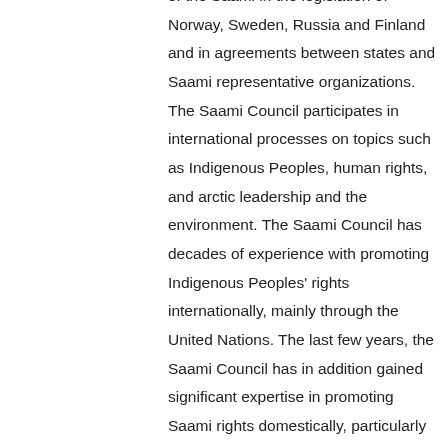of the Saami in the legislation of Norway, Sweden, Russia and Finland and in agreements between states and Saami representative organizations. The Saami Council participates in international processes on topics such as Indigenous Peoples, human rights, and arctic leadership and the environment. The Saami Council has decades of experience with promoting Indigenous Peoples' rights internationally, mainly through the United Nations. The last few years, the Saami Council has in addition gained significant expertise in promoting Saami rights domestically, particularly in relation to the extractive industries. The